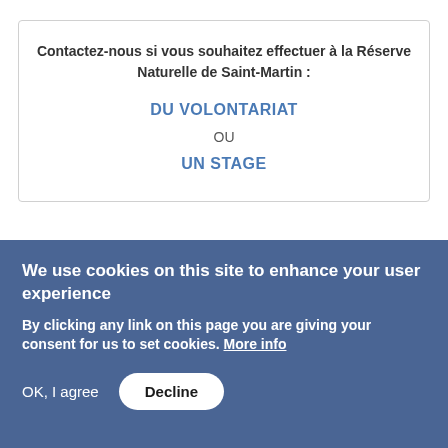Contactez-nous si vous souhaitez effectuer à la Réserve Naturelle de Saint-Martin :

DU VOLONTARIAT

OU

UN STAGE
NEWSLETTER
We use cookies on this site to enhance your user experience
By clicking any link on this page you are giving your consent for us to set cookies. More info
OK, I agree   Decline